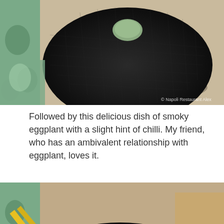[Figure (photo): Close-up photo of a black ceramic plate with a small green dumpling or food item on top, on a decorative blue tablecloth. Watermark reads 'Napoli Restaurant Alex' in the bottom right.]
Followed by this delicious dish of smoky eggplant with a slight hint of chilli. My friend, who has an ambivalent relationship with eggplant, loves it.
[Figure (photo): Photo of a black bowl containing smoky eggplant dish with green leafy herbs, chilli, white onion pieces, sesame seeds, and sauce. Yellow chopsticks visible in the top left. Served on a blue patterned surface.]